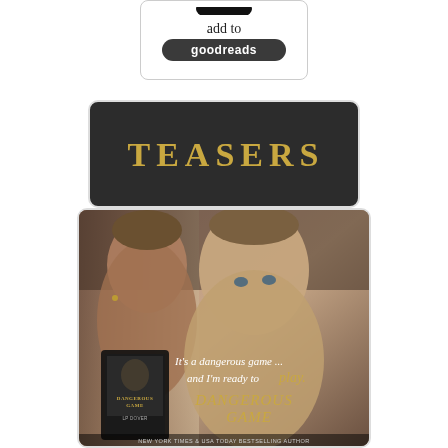[Figure (illustration): Goodreads widget button with cursive 'add to' text above a dark pill-shaped button labeled 'goodreads']
[Figure (illustration): Dark banner with gold serif text 'TEASERS' centered on a dark background with rounded corners]
[Figure (photo): Book teaser image for 'Dangerous Game' by LP Dover. Shows two shirtless men facing each other closely, with overlaid text: 'It's a dangerous game ... and I'm ready to play.' and the title 'Dangerous Game' in gold script. A tablet showing the book cover is visible in the lower left. Author credit at bottom reads 'New York Times & USA Today Bestselling Author'.]